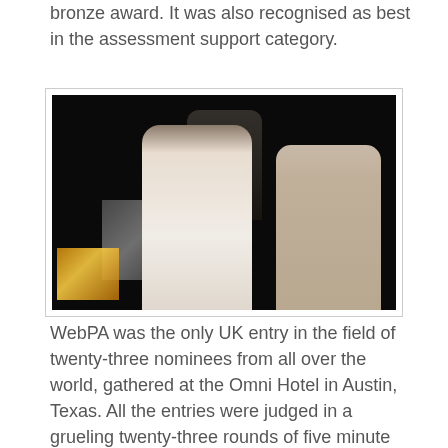bronze award. It was also recognised as best in the assessment support category.
[Figure (photo): Two people shaking hands on a dark stage during an awards ceremony, with a third person standing in the background. A golden illuminated award display is visible in the bottom-left corner.]
WebPA was the only UK entry in the field of twenty-three nominees from all over the world, gathered at the Omni Hotel in Austin, Texas. All the entries were judged in a grueling twenty-three rounds of five minute demos. Judged at the very end of that ordeal, the WebPA team still managed to win over the five judges. The group